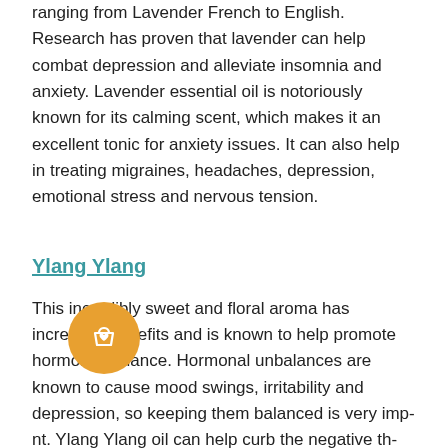ranging from Lavender French to English. Research has proven that lavender can help combat depression and alleviate insomnia and anxiety. Lavender essential oil is notoriously known for its calming scent, which makes it an excellent tonic for anxiety issues. It can also help in treating migraines, headaches, depression, emotional stress and nervous tension.
Ylang Ylang
This incredibly sweet and floral aroma has incredible benefits and is known to help promote hormonal balance. Hormonal unbalances are known to cause mood swings, irritability and depression, so keeping them balanced is very important. Ylang Ylang oil can help curb the negative thoughts associated with depression. To top it off the oil is also a mild sedative which can help to lower overall stress levels and promote calmness.